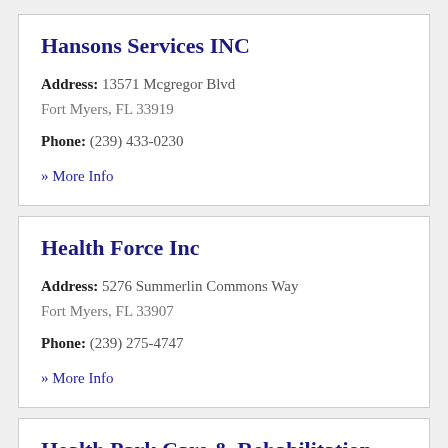Hansons Services INC
Address: 13571 Mcgregor Blvd Fort Myers, FL 33919
Phone: (239) 433-0230
» More Info
Health Force Inc
Address: 5276 Summerlin Commons Way Fort Myers, FL 33907
Phone: (239) 275-4747
» More Info
Health Park Care & Rehabilitation